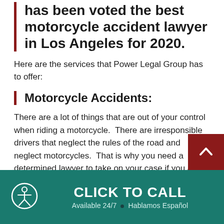has been voted the best motorcycle accident lawyer in Los Angeles for 2020.
Here are the services that Power Legal Group has to offer:
Motorcycle Accidents:
There are a lot of things that are out of your control when riding a motorcycle.  There are irresponsible drivers that neglect the rules of the road and neglect motorcycles.  That is why you need a determined lawyer to take on your case if you are involved in one of these
CLICK TO CALL
Available 24/7 ◆ Hablamos Español